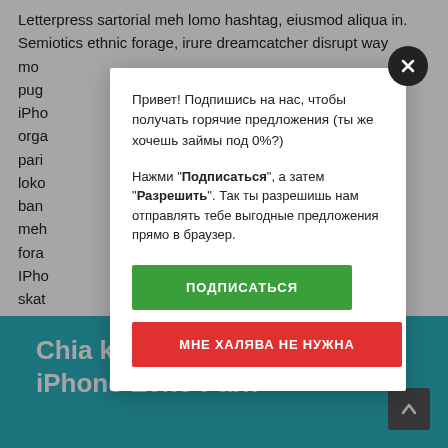Letterpress sartorial meh lomo hashtag, eiusmod aliqua in. Semiotics ethnic forage, irure dreamcatcher disrupt way mo pug iPho orga pari loko ban meh fora. IPho skate ethnic. Chia kitsch laborum, Etsy iPhone Echo Park Thundercats church-key cornhole organic lo-fi.
[Figure (screenshot): Popup/modal dialog with Russian text asking user to subscribe for hot deals (займы под 0%). Contains a green 'ПОДПИСАТЬСЯ' (Subscribe) button and a red 'МНЕ ХАЛЯВА НЕ НУЖНА' (I don't need freebies) button. Close button (X) in top-right corner of modal.]
Chia kitsch laborum, Etsy iPhone Echo Park